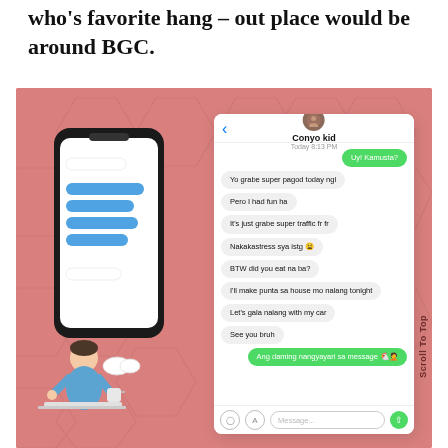who's favorite hang – out place would be around BGC.
[Figure (illustration): A pink/rose-colored illustration background with hexagonal pattern. On the left, an illustrated man in a blue shirt sits at a laptop looking at a smartphone mockup showing chat bubbles (blue on left, white on right). On the right, a mobile phone chat conversation mockup is shown with messages between two people. Messages received: 'Yo grabe super pagod today ngl', 'Pero I had fun ha', 'It\'s just grabe super traffic fr fr', 'Nakakastress sya istg 😩', 'BTW did you eat na ba?', 'I\'ll make punta sa house mo nalang tonight', 'Let\'s gala nalang with my car', 'See you bruh'. Messages sent: 'Uy! Kamusta?', 'Ang daming nangyayari sa message 🐔🤦'. A vertical 'Scroll To Top' label appears on the right edge.]